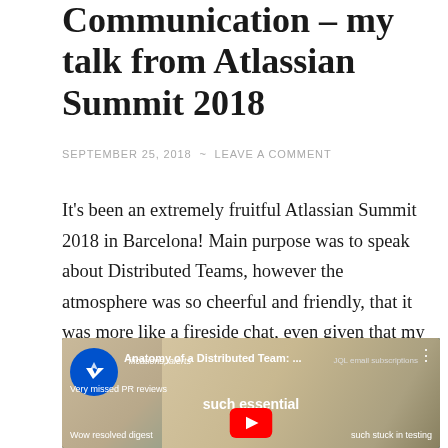Communication – my talk from Atlassian Summit 2018
SEPTEMBER 25, 2018  ~  LEAVE A COMMENT
It's been an extremely fruitful Atlassian Summit 2018 in Barcelona! Main purpose was to speak about Distributed Teams, however the atmosphere was so cheerful and friendly, that it was more like a fireside chat, even given that my speech was the closing one.
[Figure (screenshot): YouTube video thumbnail showing 'Anatomy of a Distributed Team: ...' with Atlassian logo, a dog meme image, text overlays including 'such essential', 'Very missed PR reviews', 'Wow resolved digest', 'such stuck in testing', 'notifications alerts', 'JQL email subscriptions', and a red YouTube play button.]